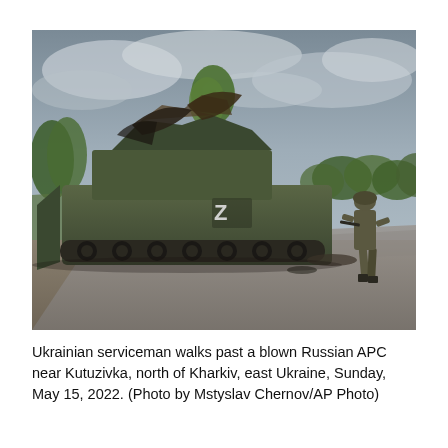[Figure (photo): A Ukrainian serviceman stands and looks at a destroyed Russian armored personnel carrier (APC) marked with a 'Z' symbol on a road near Kutuzivka, north of Kharkiv, east Ukraine. The vehicle is heavily damaged with twisted metal. Trees and an overcast sky are visible in the background.]
Ukrainian serviceman walks past a blown Russian APC near Kutuzivka, north of Kharkiv, east Ukraine, Sunday, May 15, 2022. (Photo by Mstyslav Chernov/AP Photo)